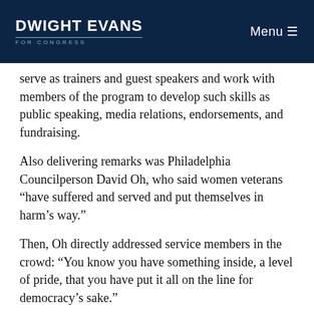DWIGHT EVANS FOR CONGRESS | Menu
serve as trainers and guest speakers and work with members of the program to develop such skills as public speaking, media relations, endorsements, and fundraising.
Also delivering remarks was Philadelphia Councilperson David Oh, who said women veterans “have suffered and served and put themselves in harm’s way.”
Then, Oh directly addressed service members in the crowd: “You know you have something inside, a level of pride, that you have put it all on the line for democracy’s sake.”
The organization that hosted the event, Women Veterans ROCK, is a coalition of 200 women veteran